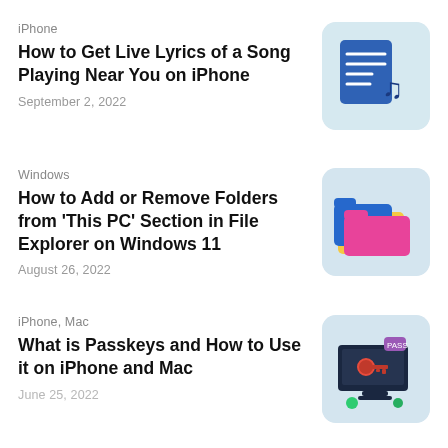iPhone
How to Get Live Lyrics of a Song Playing Near You on iPhone
September 2, 2022
[Figure (illustration): Blue document with musical note icon on light blue rounded background]
Windows
How to Add or Remove Folders from 'This PC' Section in File Explorer on Windows 11
August 26, 2022
[Figure (illustration): Colorful stacked folders (blue, pink, yellow) icon on light blue rounded background]
iPhone, Mac
What is Passkeys and How to Use it on iPhone and Mac
June 25, 2022
[Figure (illustration): Computer monitor with key/passkey security icon on light blue rounded background]